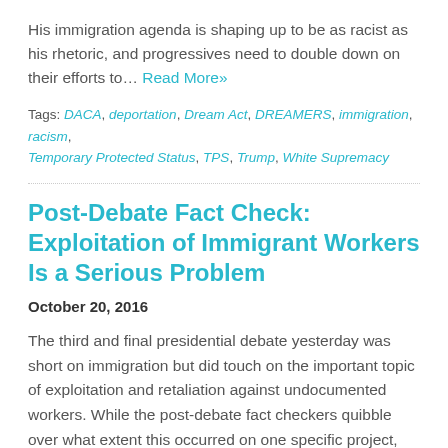His immigration agenda is shaping up to be as racist as his rhetoric, and progressives need to double down on their efforts to… Read More»
Tags: DACA, deportation, Dream Act, DREAMERS, immigration, racism, Temporary Protected Status, TPS, Trump, White Supremacy
Post-Debate Fact Check: Exploitation of Immigrant Workers Is a Serious Problem
October 20, 2016
The third and final presidential debate yesterday was short on immigration but did touch on the important topic of exploitation and retaliation against undocumented workers. While the post-debate fact checkers quibble over what extent this occurred on one specific project, we know such retaliation exists and it is a problem…. Read More»